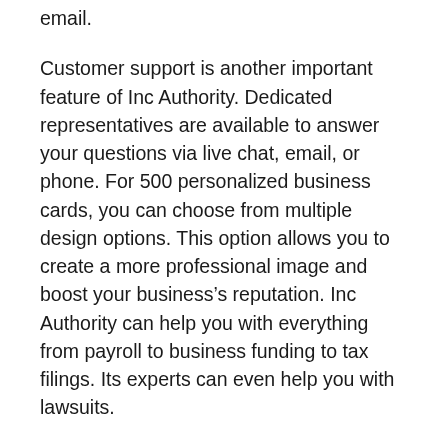email.
Customer support is another important feature of Inc Authority. Dedicated representatives are available to answer your questions via live chat, email, or phone. For 500 personalized business cards, you can choose from multiple design options. This option allows you to create a more professional image and boost your business’s reputation. Inc Authority can help you with everything from payroll to business funding to tax filings. Its experts can even help you with lawsuits.
Inc Authority Reviews
The Inc Authority website has been receiving li...